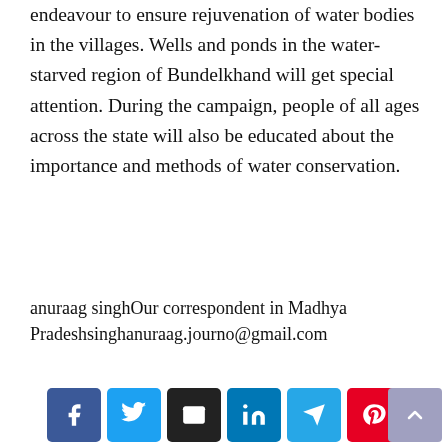endeavour to ensure rejuvenation of water bodies in the villages. Wells and ponds in the water-starved region of Bundelkhand will get special attention. During the campaign, people of all ages across the state will also be educated about the importance and methods of water conservation.
anuraag singhOur correspondent in Madhya Pradeshsinghanuraag.journo@gmail.com
[Figure (other): Social share buttons row: Facebook, Twitter, Email, LinkedIn, Telegram, Pinterest]
« Running out of hospital beds, crematoriums as COVID-19 cases, deaths climb across
J&K: With no cinema halls in Valley, govt to come up with film policy »